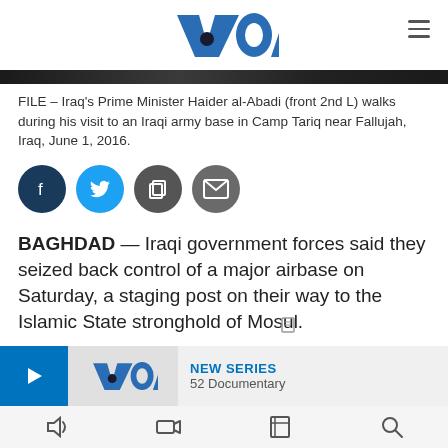VOA
[Figure (photo): A dark photo strip showing an Iraqi army base scene]
FILE – Iraq's Prime Minister Haider al-Abadi (front 2nd L) walks during his visit to an Iraqi army base in Camp Tariq near Fallujah, Iraq, June 1, 2016.
[Figure (other): Social media share icons: Facebook, Twitter, Copy, Email]
BAGHDAD — Iraqi government forces said they seized back control of a major airbase on Saturday, a staging post on their way to the Islamic State stronghold of Mosul.
Special forces and regular troops, under air cover from the U.S.-led coa... from the south and f...
[Figure (screenshot): Bottom banner overlay showing VOA New Series - 52 Documentary promo with arrow button]
Bottom navigation bar with audio, video, bookmarks, search icons